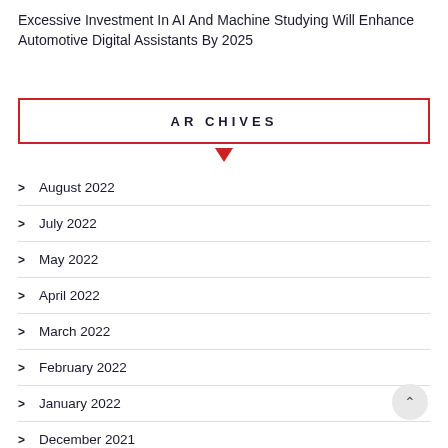Excessive Investment In AI And Machine Studying Will Enhance Automotive Digital Assistants By 2025
ARCHIVES
August 2022
July 2022
May 2022
April 2022
March 2022
February 2022
January 2022
December 2021